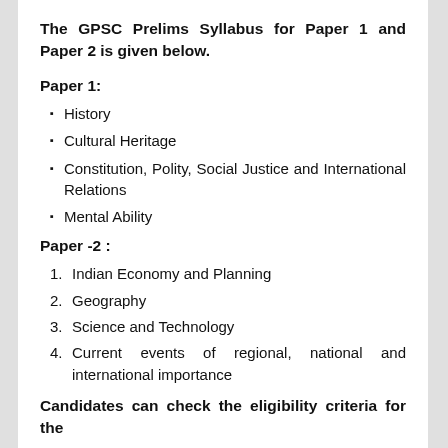The GPSC Prelims Syllabus for Paper 1 and Paper 2 is given below.
Paper 1:
History
Cultural Heritage
Constitution, Polity, Social Justice and International Relations
Mental Ability
Paper -2 :
Indian Economy and Planning
Geography
Science and Technology
Current events of regional, national and international importance
Candidates can check the eligibility criteria for the